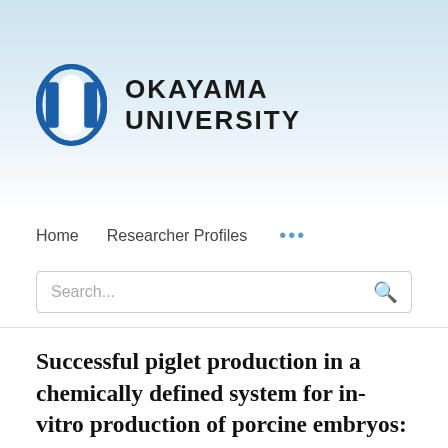[Figure (logo): Okayama University logo with blue shield/oval icon and university name text]
Home   Researcher Profiles   ...
Search...
Successful piglet production in a chemically defined system for in-vitro production of porcine embryos: Dibutyryl cyclic amp and epidermal growth factor-family peptides support in-vitro